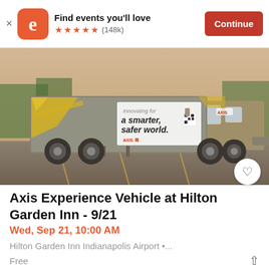Find events you'll love ★★★★★ (148k) Continue
[Figure (photo): Axis Experience Vehicle truck parked in a parking lot. The truck has a gray and yellow wrap with text 'Innovating for a smarter, safer world.' and the Axis logo. Trees visible in the background under warm lighting.]
Axis Experience Vehicle at Hilton Garden Inn - 9/21
Wed, Sep 21, 10:00 AM
Hilton Garden Inn Indianapolis Airport •...
Free